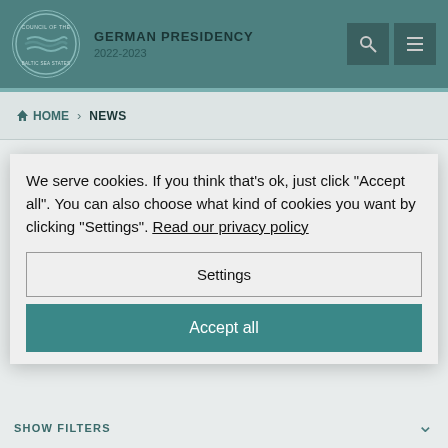GERMAN PRESIDENCY 2022-2023 — Council of the Baltic Sea States
HOME > NEWS
We serve cookies. If you think that's ok, just click "Accept all". You can also choose what kind of cookies you want by clicking "Settings". Read our privacy policy
Keep up to date with inline for freshness and press releases from the Council of the Baltic Sea States. Subscribe to stay up to date.
Subscribe
Settings
Accept all
SHOW FILTERS